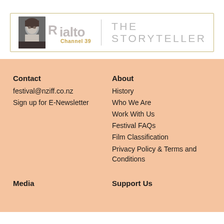[Figure (logo): Rialto Channel 39 logo with face image and tagline THE STORYTELLER, inside a gold-bordered box]
Contact
festival@nziff.co.nz
Sign up for E-Newsletter
About
History
Who We Are
Work With Us
Festival FAQs
Film Classification
Privacy Policy & Terms and Conditions
Media
Support Us